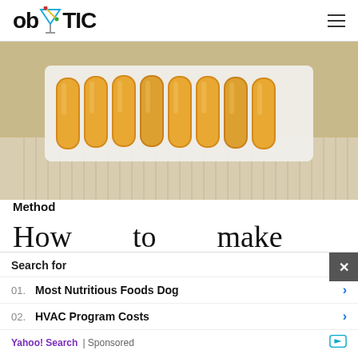ob TIC
[Figure (photo): Fried spring rolls or Neapolitan cartridges arranged on a white rectangular plate on a striped placemat]
Method
How to make Neapolitan cartridges with the thermomix
Search for
01. Most Nutritious Foods Dog
02. HVAC Program Costs
Yahoo! Search | Sponsored